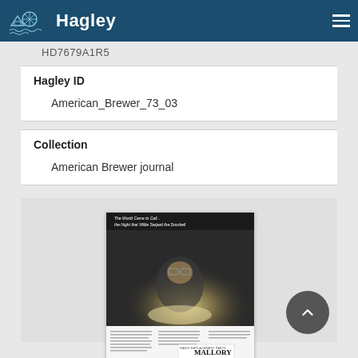Hagley
HD7679A1R5
Hagley ID
American_Brewer_73_03
Collection
American Brewer journal
[Figure (photo): Black and white vintage advertisement image showing a child looking at a glowing device at night, with text 'The World Came to Call... the Night that Willie Swiped the Doorbell' and Mallory brand logo at bottom]